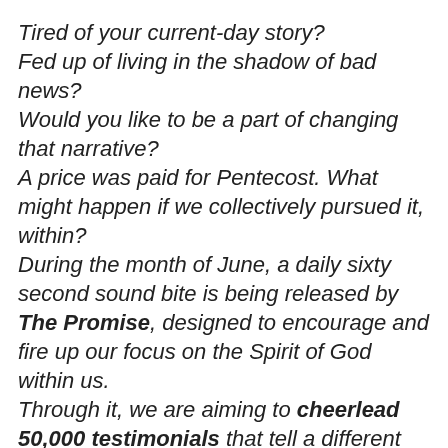Tired of your current-day story? Fed up of living in the shadow of bad news? Would you like to be a part of changing that narrative? A price was paid for Pentecost. What might happen if we collectively pursued it, within? During the month of June, a daily sixty second sound bite is being released by The Promise, designed to encourage and fire up our focus on the Spirit of God within us. Through it, we are aiming to cheerlead 50,000 testimonials that tell a different story (to the typical news of the day) The kind of testimonies that are only made possible by the power of God's Spirit at work. Stories of hope,